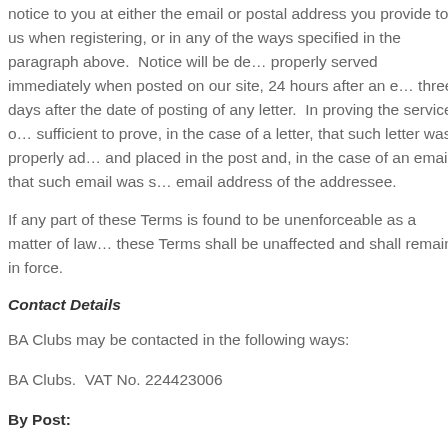notice to you at either the email or postal address you provide to us when registering, or in any of the ways specified in the paragraph above. Notice will be deemed to be properly served immediately when posted on our site, 24 hours after an email is sent, or three days after the date of posting of any letter. In proving the service of any notice, it will be sufficient to prove, in the case of a letter, that such letter was properly addressed, stamped and placed in the post and, in the case of an email, that such email was sent to the specified email address of the addressee.
If any part of these Terms is found to be unenforceable as a matter of law, all other parts of these Terms shall be unaffected and shall remain in force.
Contact Details
BA Clubs may be contacted in the following ways:
BA Clubs.  VAT No. 224423006
By Post:
BA Clubs
The Orchard, Hatton Road, Bedfont, Middlesex TW14 9QT